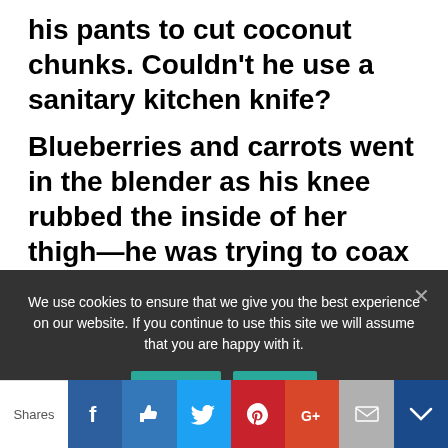his pants to cut coconut chunks. Couldn't he use a sanitary kitchen knife? Blueberries and carrots went in the blender as his knee rubbed the inside of her thigh—he was trying to coax her into submission. Persuasive, but she couldn't let him blow hot and cold and think she would still be at his beck and call. Girls
We use cookies to ensure that we give you the best experience on our website. If you continue to use this site we will assume that you are happy with it.